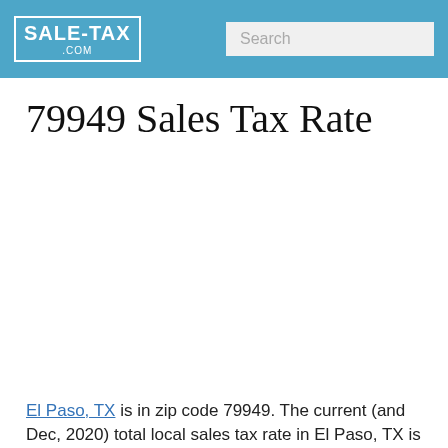SALE-TAX.COM | Search
79949 Sales Tax Rate
El Paso, TX is in zip code 79949. The current (and Dec, 2020) total local sales tax rate in El Paso, TX is